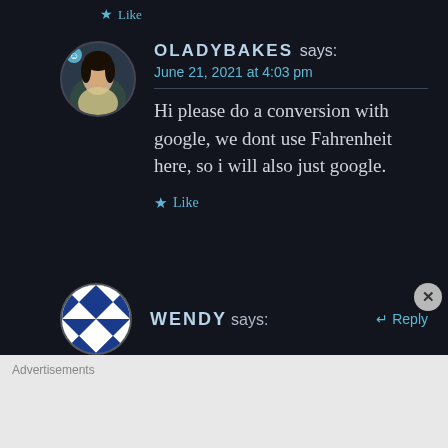Like
OLADYBAKES says: June 21, 2021 at 4:03 pm
Hi please do a conversion with google, we dont use Fahrenheit here, so i will also just google.
Like
WENDY says:
Reply
Advertisements